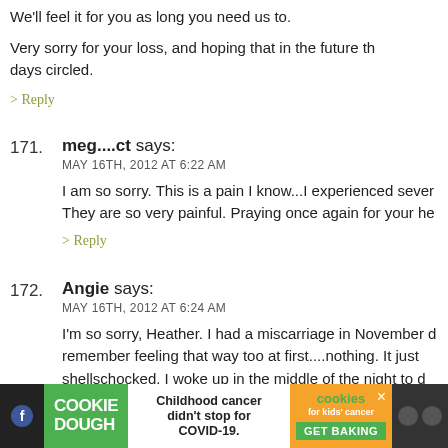We'll feel it for you as long you need us to.
Very sorry for your loss, and hoping that in the future th… days circled.
> Reply
171. meg....ct says: MAY 16TH, 2012 AT 6:22 AM — I am so sorry. This is a pain I know...I experienced sever. They are so very painful. Praying once again for your he
> Reply
172. Angie says: MAY 16TH, 2012 AT 6:24 AM — I'm so sorry, Heather. I had a miscarriage in November d… remember feeling that way too at first....nothing. It just shellschocked. I woke up in the middle of the night to d… happened (after having a VERY vivid dream that I had n… then I went into robot mode. I calmly told my poor hus…
[Figure (screenshot): Cookie Dough advertisement banner at the bottom of the page: green Cookie Dough logo on left, center text 'Childhood cancer didn't stop for COVID-19.', right side cookies for kids cancer logo with GET BAKING button, dark background with social icons.]